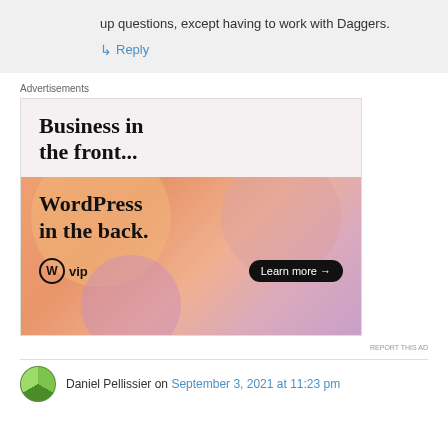up questions, except having to work with Daggers.
↳ Reply
Advertisements
[Figure (screenshot): WordPress VIP advertisement: 'Business in the front... WordPress in the back.' with a Learn more button and colorful gradient background with blobs.]
REPORT THIS AD
Daniel Pellissier on September 3, 2021 at 11:23 pm